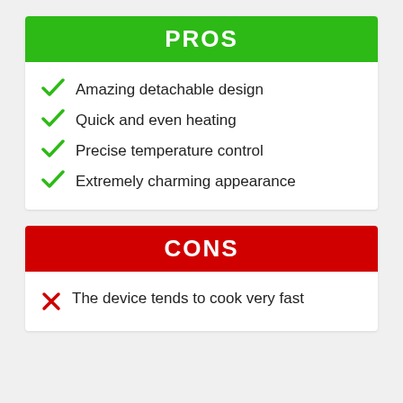PROS
Amazing detachable design
Quick and even heating
Precise temperature control
Extremely charming appearance
CONS
The device tends to cook very fast